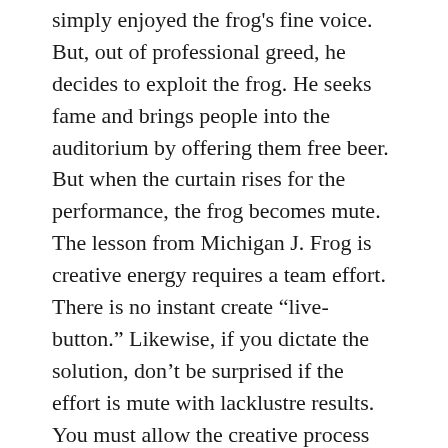simply enjoyed the frog's fine voice. But, out of professional greed, he decides to exploit the frog. He seeks fame and brings people into the auditorium by offering them free beer. But when the curtain rises for the performance, the frog becomes mute. The lesson from Michigan J. Frog is creative energy requires a team effort. There is no instant create “live-button.” Likewise, if you dictate the solution, don’t be surprised if the effort is mute with lacklustre results. You must allow the creative process time to percolate, and incubate. Don’t be the master of the frog. Trust the talent to find a solution and together, rise, take centre stage, and sing your hearts out. Dancing is optional.
In the corporate world, I have achieved the role of Director, doesn’t that mean I’m the master of all content, creative vision, and all mediums? No. Frankly,